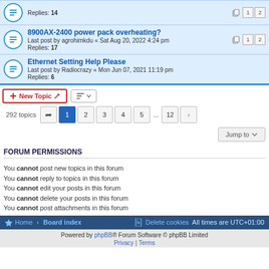Replies: 14
8900AX-2400 power pack overheating? Last post by agrohimkdu « Sat Aug 20, 2022 4:24 pm Replies: 17
Ethernet Setting Help Please Last post by Radiocrazy « Mon Jun 07, 2021 11:19 pm Replies: 6
New Topic | 292 topics | 1 2 3 4 5 ... 12 > | Jump to
FORUM PERMISSIONS
You cannot post new topics in this forum
You cannot reply to topics in this forum
You cannot edit your posts in this forum
You cannot delete your posts in this forum
You cannot post attachments in this forum
Home · Board index | Delete cookies | All times are UTC+01:00
Powered by phpBB® Forum Software © phpBB Limited | Privacy | Terms